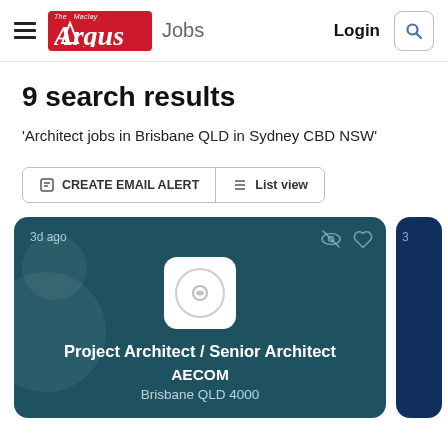The Maclay Argus Jobs — Login [search]
9 search results
'Architect jobs in Brisbane QLD in Sydney CBD NSW'
CREATE EMAIL ALERT  List view
[Figure (screenshot): Job listing card on dark teal background showing 'Project Architect / Senior Architect' at AECOM, Brisbane QLD 4000, posted 3 days ago, with a placeholder company logo]
3d ago
Project Architect / Senior Architect
AECOM
Brisbane QLD 4000